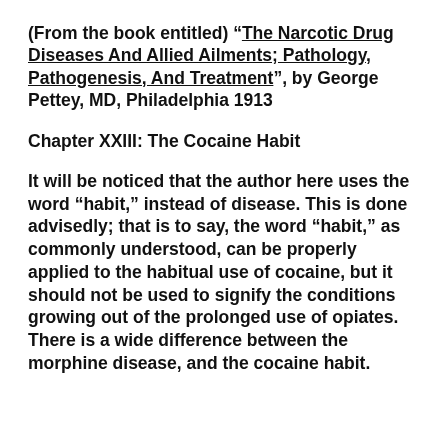(From the book entitled) “The Narcotic Drug Diseases And Allied Ailments; Pathology, Pathogenesis, And Treatment”, by George Pettey, MD, Philadelphia 1913
Chapter XXIII: The Cocaine Habit
It will be noticed that the author here uses the word “habit,” instead of disease. This is done advisedly; that is to say, the word “habit,” as commonly understood, can be properly applied to the habitual use of cocaine, but it should not be used to signify the conditions growing out of the prolonged use of opiates. There is a wide difference between the morphine disease, and the cocaine habit.